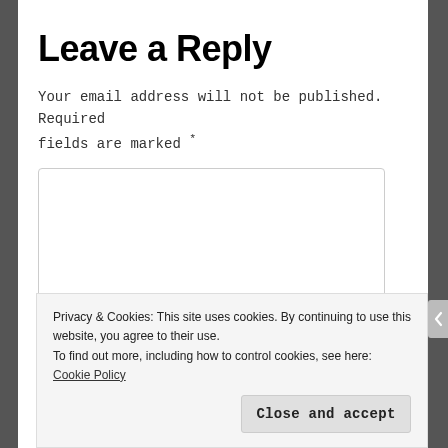Leave a Reply
Your email address will not be published. Required fields are marked *
[Figure (other): Empty comment text area input box with resize handle]
Privacy & Cookies: This site uses cookies. By continuing to use this website, you agree to their use.
To find out more, including how to control cookies, see here: Cookie Policy
Close and accept